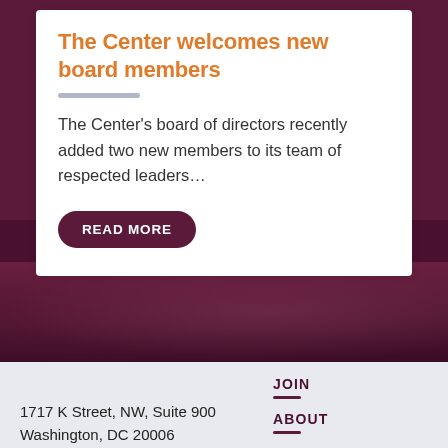The Center welcomes new board members
The Center's board of directors recently added two new members to its team of respected leaders…
READ MORE
JOIN
ABOUT
1717 K Street, NW, Suite 900
Washington, DC 20006